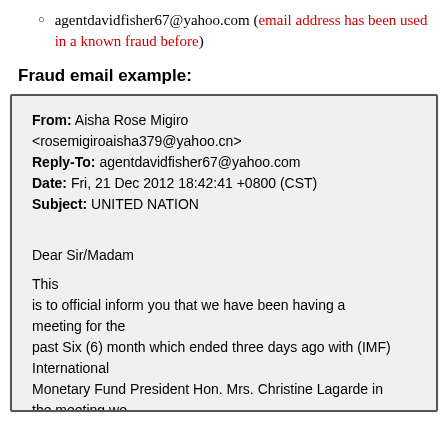agentdavidfisher67@yahoo.com (email address has been used in a known fraud before)
Fraud email example:
From: Aisha Rose Migiro <rosemigiroaisha379@yahoo.cn>
Reply-To: agentdavidfisher67@yahoo.com
Date: Fri, 21 Dec 2012 18:42:41 +0800 (CST)
Subject: UNITED NATION

Dear Sir/Madam

This
is to official inform you that we have been having a meeting for the
past Six (6) month which ended three days ago with (IMF) International
Monetary Fund President Hon. Mrs. Christine Lagarde in the meeting we
discussed on issue concerning Scam victim and Compensation procedure
which we have concluded